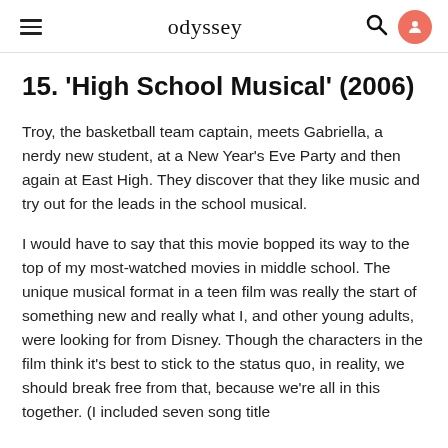odyssey
15. 'High School Musical' (2006)
Troy, the basketball team captain, meets Gabriella, a nerdy new student, at a New Year's Eve Party and then again at East High. They discover that they like music and try out for the leads in the school musical.
I would have to say that this movie bopped its way to the top of my most-watched movies in middle school. The unique musical format in a teen film was really the start of something new and really what I, and other young adults, were looking for from Disney. Though the characters in the film think it's best to stick to the status quo, in reality, we should break free from that, because we're all in this together. (I included seven song title